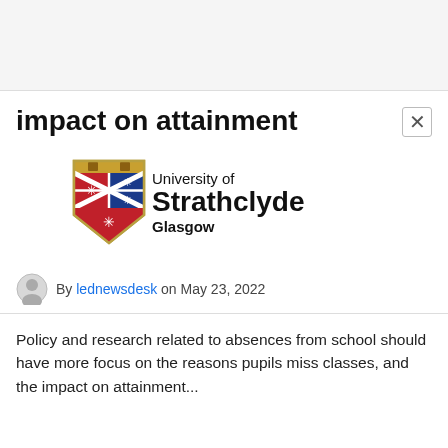impact on attainment
[Figure (logo): University of Strathclyde Glasgow logo with shield/crest emblem]
By lednewsdesk on May 23, 2022
Policy and research related to absences from school should have more focus on the reasons pupils miss classes, and the impact on attainment...